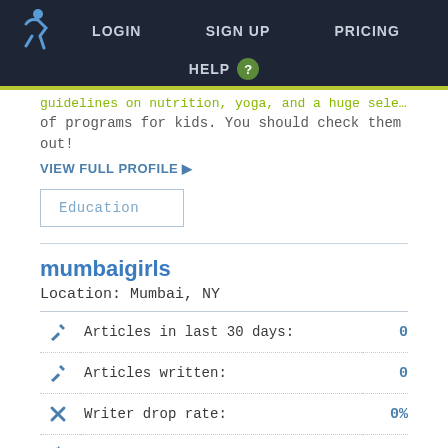LOGIN   SIGN UP   PRICING   HELP ?
guidelines on nutrition, yoga, and a huge selection of programs for kids. You should check them out!
VIEW FULL PROFILE ▶
Education
mumbaigirls
Location: Mumbai, NY
|  | Metric | Value |
| --- | --- | --- |
| ✏ | Articles in last 30 days: | 0 |
| ✏ | Articles written: | 0 |
| ✗ | Writer drop rate: | 0% |
| ↺ | Writer revision rate: | 0% |